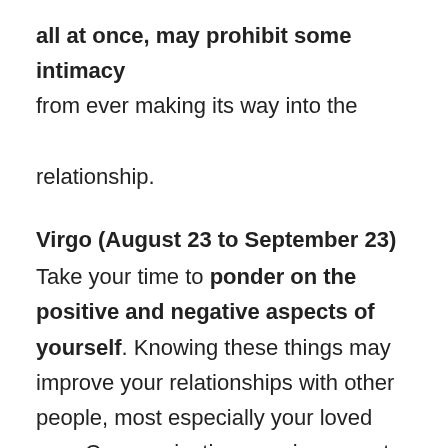all at once, may prohibit some intimacy from ever making its way into the relationship.
Virgo (August 23 to September 23)
Take your time to ponder on the positive and negative aspects of yourself. Knowing these things may improve your relationships with other people, most especially your loved one. Communicating your innermost feelings to them will gain you a ton of respect and admiration.
Libra (September 24 to October 23)